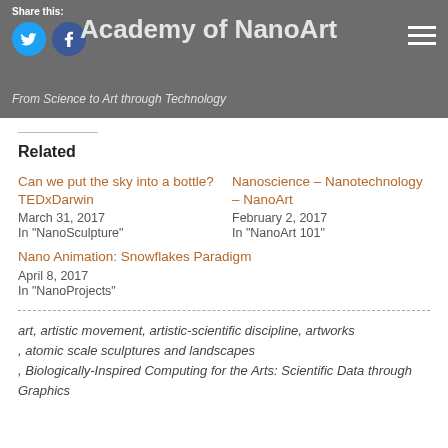Academy of NanoArt — From Science to Art through Technology
Share this:
Related
Can we put the sky into a bottle? TEDxDarwin
March 31, 2017
In "NanoSculpture"
Nanoscience – Nanotechnology – NanoArt
February 2, 2017
In "NanoArt 101"
Nano Animation: Snowflakes Paradigm
April 8, 2017
In "NanoProjects"
art, artistic movement, artistic-scientific discipline, artworks, atomic scale sculptures and landscapes, Biologically-Inspired Computing for the Arts: Scientific Data through Graphics